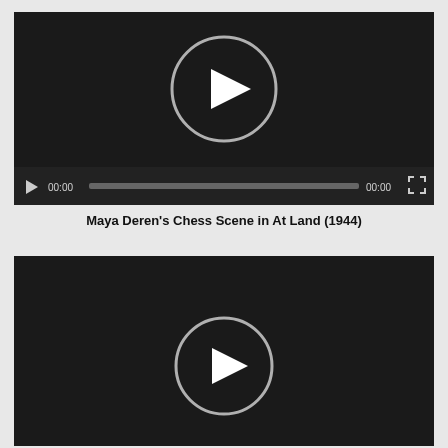[Figure (screenshot): Video player with dark background, large circular play button in center, and control bar at bottom showing play button, 00:00 timestamp, progress bar, 00:00 end time, and fullscreen button.]
Maya Deren's Chess Scene in At Land (1944)
[Figure (screenshot): Second video player with dark background and large circular play button in center, no visible control bar.]